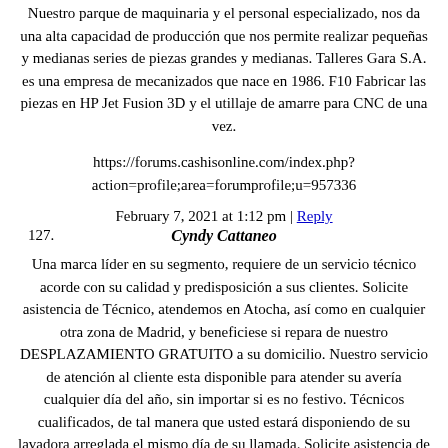Nuestro parque de maquinaria y el personal especializado, nos da una alta capacidad de producción que nos permite realizar pequeñas y medianas series de piezas grandes y medianas. Talleres Gara S.A. es una empresa de mecanizados que nace en 1986. F10 Fabricar las piezas en HP Jet Fusion 3D y el utillaje de amarre para CNC de una vez.
https://forums.cashisonline.com/index.php?action=profile;area=forumprofile;u=957336
February 7, 2021 at 1:12 pm | Reply
127.
Cyndy Cattaneo
Una marca líder en su segmento, requiere de un servicio técnico acorde con su calidad y predisposición a sus clientes. Solicite asistencia de Técnico, atendemos en Atocha, así como en cualquier otra zona de Madrid, y beneficiese si repara de nuestro DESPLAZAMIENTO GRATUITO a su domicilio. Nuestro servicio de atención al cliente esta disponible para atender su avería cualquier día del año, sin importar si es no festivo. Técnicos cualificados, de tal manera que usted estará disponiendo de su lavadora arreglada el mismo día de su llamada. Solicite asistencia de Técnico, atendemos en todo Madrid, y beneficiese si repara de nuestro DESPLAZAMIENTO GRATUITO a su